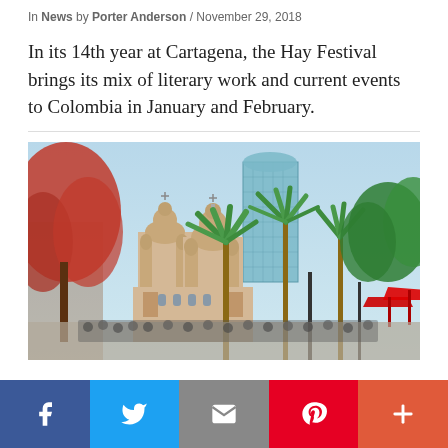In News by Porter Anderson / November 29, 2018
In its 14th year at Cartagena, the Hay Festival brings its mix of literary work and current events to Colombia in January and February.
[Figure (photo): Outdoor cityscape with palm trees, cathedral towers with baroque architecture, a modern glass skyscraper in the background, and crowds of people in a plaza under a clear blue sky.]
Social share bar: Facebook, Twitter, Email, Pinterest, More